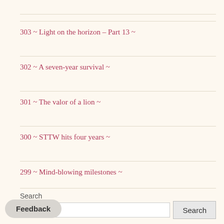303 ~ Light on the horizon – Part 13 ~
302 ~ A seven-year survival ~
301 ~ The valor of a lion ~
300 ~ STTW hits four years ~
299 ~ Mind-blowing milestones ~
Search